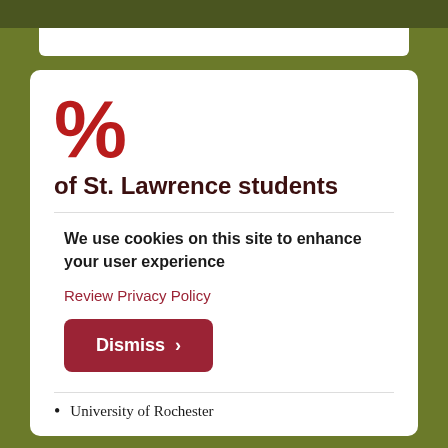%
of St. Lawrence students
We use cookies on this site to enhance your user experience
Review Privacy Policy
Dismiss ›
University of Rochester